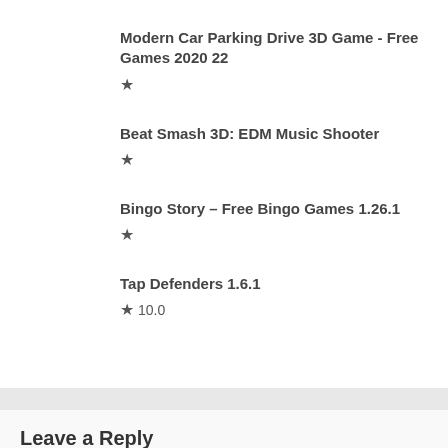Modern Car Parking Drive 3D Game - Free Games 2020 22
★
Beat Smash 3D: EDM Music Shooter
★
Bingo Story – Free Bingo Games 1.26.1
★
Tap Defenders 1.6.1
★ 10.0
Leave a Reply